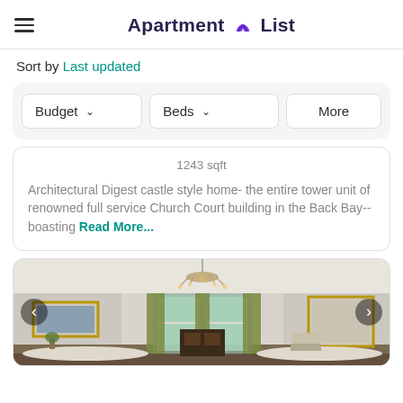Apartment List
Sort by Last updated
Budget   Beds   More
1243 sqft
Architectural Digest castle style home- the entire tower unit of renowned full service Church Court building in the Back Bay-- boasting Read More...
[Figure (photo): Interior photo of an elegant living room with chandelier, tall windows with green drapes, white walls, framed paintings, and classic furniture]